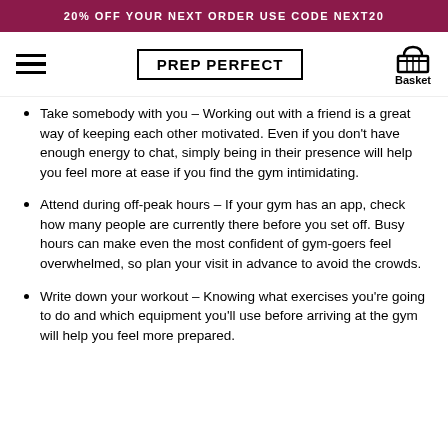20% OFF YOUR NEXT ORDER USE CODE NEXT20
PREP PERFECT
Take somebody with you – Working out with a friend is a great way of keeping each other motivated. Even if you don't have enough energy to chat, simply being in their presence will help you feel more at ease if you find the gym intimidating.
Attend during off-peak hours – If your gym has an app, check how many people are currently there before you set off. Busy hours can make even the most confident of gym-goers feel overwhelmed, so plan your visit in advance to avoid the crowds.
Write down your workout – Knowing what exercises you're going to do and which equipment you'll use before arriving at the gym will help you feel more prepared.